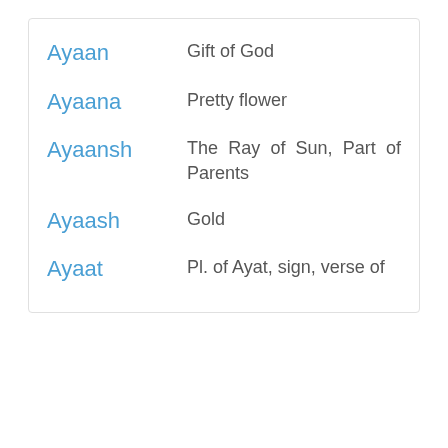Ayaan — Gift of God
Ayaana — Pretty flower
Ayaansh — The Ray of Sun, Part of Parents
Ayaash — Gold
Ayaat — Pl. of Ayat, sign, verse of